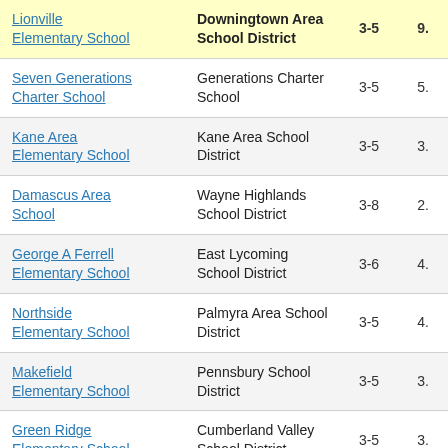| School | District | Grades | Score |
| --- | --- | --- | --- |
| Lionville Elementary School | Downingtown Area School District | 3-5 | 9. |
| Seven Generations Charter School | Generations Charter School | 3-5 | 5. |
| Kane Area Elementary School | Kane Area School District | 3-5 | 3. |
| Damascus Area School | Wayne Highlands School District | 3-8 | 2. |
| George A Ferrell Elementary School | East Lycoming School District | 3-6 | 4. |
| Northside Elementary School | Palmyra Area School District | 3-5 | 4. |
| Makefield Elementary School | Pennsbury School District | 3-5 | 3. |
| Green Ridge Elementary School | Cumberland Valley School District | 3-5 | 3. |